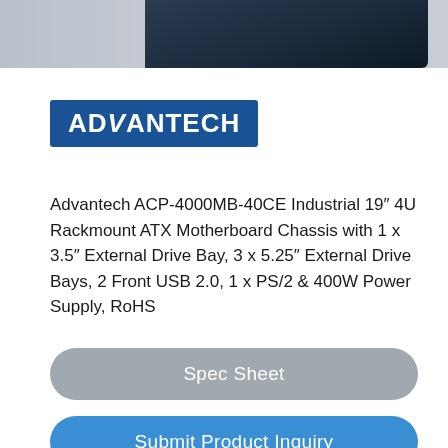[Figure (photo): Top portion of an industrial rack-mount chassis/server unit on a gray surface, dark navy blue casing visible]
[Figure (logo): Advantech logo — white bold italic text on dark blue rectangular background]
Advantech ACP-4000MB-40CE Industrial 19″ 4U Rackmount ATX Motherboard Chassis with 1 x 3.5″ External Drive Bay, 3 x 5.25″ External Drive Bays, 2 Front USB 2.0, 1 x PS/2 & 400W Power Supply, RoHS
Spec Sheet
Submit Product Inquiry